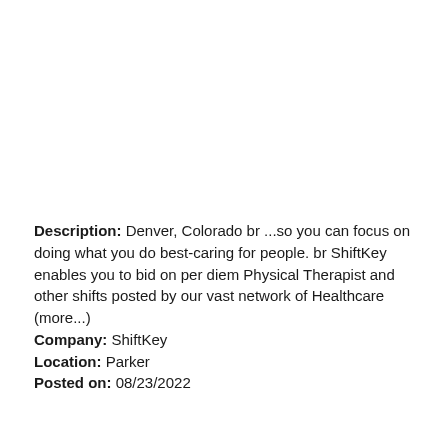Description: Denver, Colorado br ...so you can focus on doing what you do best-caring for people. br ShiftKey enables you to bid on per diem Physical Therapist and other shifts posted by our vast network of Healthcare (more...)
Company: ShiftKey
Location: Parker
Posted on: 08/23/2022